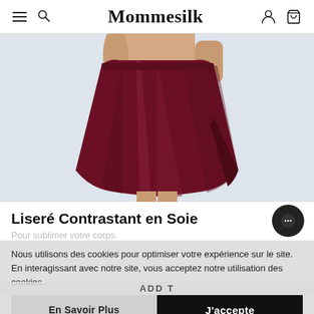Mommesilk
[Figure (photo): Close-up of a model wearing a deep burgundy/wine silk slip skirt with a flared silhouette and contrasting trim, shot against a light blue-gray background.]
Liseré Contrastant en Soie
Pour sublimer votre corps.
Nous utilisons des cookies pour optimiser votre expérience sur le site. En interagissant avec notre site, vous acceptez notre utilisation des cookies.
En Savoir Plus
J'accepte